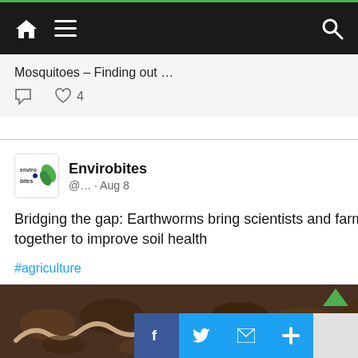Navigation bar with home, menu, and search icons
Mosquitoes – Finding out …
[Figure (screenshot): Envirobites logo - small circular icon with green leaf and 'envirobites' text]
Envirobites @... · Aug 8
Bridging the gap: Earthworms bring scientists and farmers together to improve soil health #agriculture #citizenscience envirobites.org/2022/08/08/bri…
[Figure (photo): Close-up photo of an earthworm in dark brown soil]
Social share buttons: Facebook, Twitter, Mail, Plus